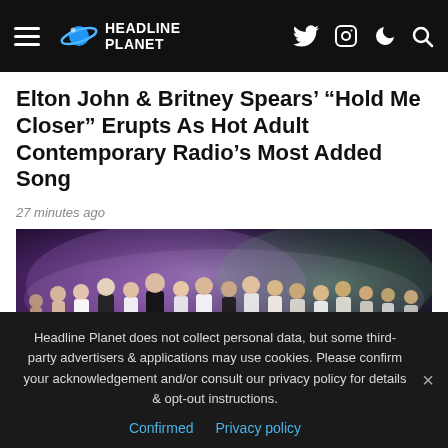Headline Planet
Elton John & Britney Spears' “Hold Me Closer” Erupts As Hot Adult Contemporary Radio’s Most Added Song
27 minutes ago
[Figure (photo): Group of performers dancing on stage with purple and green smoke/lighting effects in the background. Dancers wearing mostly white outfits with one in a black outfit in the center.]
Headline Planet does not collect personal data, but some third-party advertisers & applications may use cookies. Please confirm your acknowledgement and/or consult our privacy policy for details & opt-out instructions.